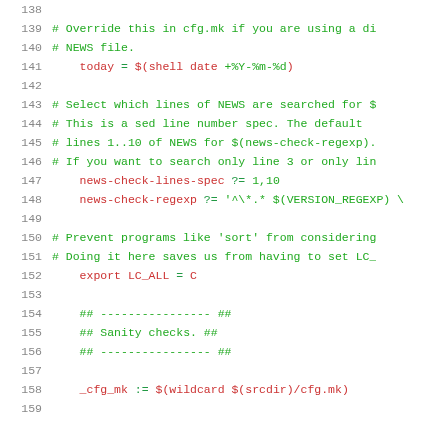Source code / Makefile snippet, lines 138-159
138 (blank)
139 # Override this in cfg.mk if you are using a di
140 # NEWS file.
141     today = $(shell date +%Y-%m-%d)
142 (blank)
143 # Select which lines of NEWS are searched for $
144 # This is a sed line number spec.  The default
145 # lines 1..10 of NEWS for $(news-check-regexp).
146 # If you want to search only line 3 or only lin
147     news-check-lines-spec ?= 1,10
148     news-check-regexp ?= '^\*.* $(VERSION_REGEXP) \
149 (blank)
150 # Prevent programs like 'sort' from considering
151 # Doing it here saves us from having to set LC_
152     export LC_ALL = C
153 (blank)
154     ## ---------------- ##
155     ## Sanity checks.  ##
156     ## ---------------- ##
157 (blank)
158     _cfg_mk := $(wildcard $(srcdir)/cfg.mk)
159 (partial)